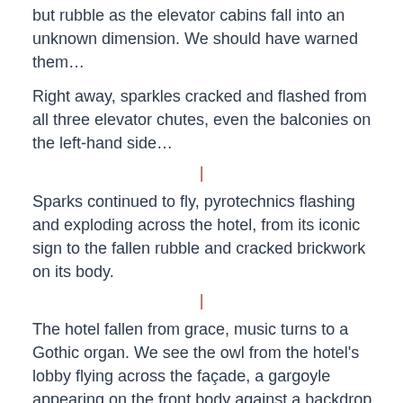but rubble as the elevator cabins fall into an unknown dimension. We should have warned them…
Right away, sparkles cracked and flashed from all three elevator chutes, even the balconies on the left-hand side…
|
Sparks continued to fly, pyrotechnics flashing and exploding across the hotel, from its iconic sign to the fallen rubble and cracked brickwork on its body.
|
The hotel fallen from grace, music turns to a Gothic organ. We see the owl from the hotel's lobby flying across the façade, a gargoyle appearing on the front body against a backdrop of thundering rain.
Another blast of pyrotechnics bursts from the roof of the